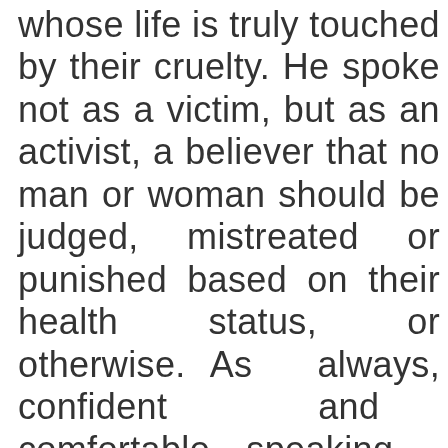whose life is truly touched by their cruelty. He spoke not as a victim, but as an activist, a believer that no man or woman should be judged, mistreated or punished based on their health status, or otherwise. As always, confident and comfortable speaking out (perhaps in